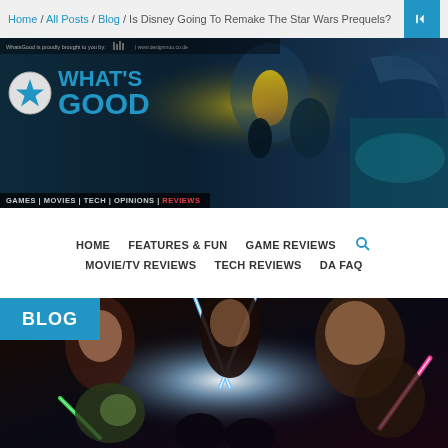Home / All Posts / Blog / Is Disney Going To Remake The Star Wars Prequels?
[Figure (illustration): What's Good website header banner with logo featuring a blue star icon and 'WHAT'S GOOD' text, overlaid on a fantasy/gaming collage background with tagline: GAMES | MOVIES | TECH | OPINIONS | REVIEWS]
HOME | FEATURES & FUN | GAME REVIEWS | MOVIE/TV REVIEWS | TECH REVIEWS | DA FAQ
[Figure (photo): Star Wars prequels movie poster art showing characters including Padme, Anakin, Obi-Wan Kenobi, Yoda with lightsabers crossed under a BLOG label]